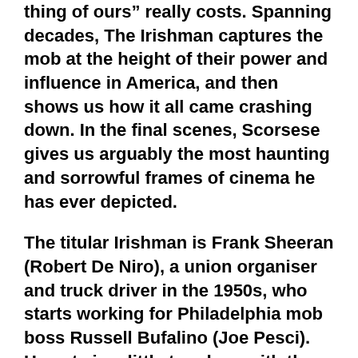thing of ours" really costs. Spanning decades, The Irishman captures the mob at the height of their power and influence in America, and then shows us how it all came crashing down. In the final scenes, Scorsese gives us arguably the most haunting and sorrowful frames of cinema he has ever depicted.
The titular Irishman is Frank Sheeran (Robert De Niro), a union organiser and truck driver in the 1950s, who starts working for Philadelphia mob boss Russell Bufalino (Joe Pesci). He gets in a little too deep with the head of the family (Harvey Keitel) and